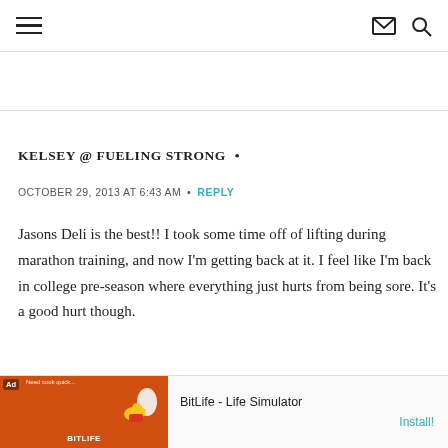Navigation header with hamburger menu, mail icon, and search icon
KELSEY @ FUELING STRONG •
OCTOBER 29, 2013 AT 6:43 AM • REPLY
Jasons Deli is the best!! I took some time off of lifting during marathon training, and now I'm getting back at it. I feel like I'm back in college pre-season where everything just hurts from being sore. It's a good hurt though.
[Figure (screenshot): Ad banner for BitLife - Life Simulator app with orange background and game graphics on the left, and 'BitLife - Life Simulator' text and 'Install!' link on the right]